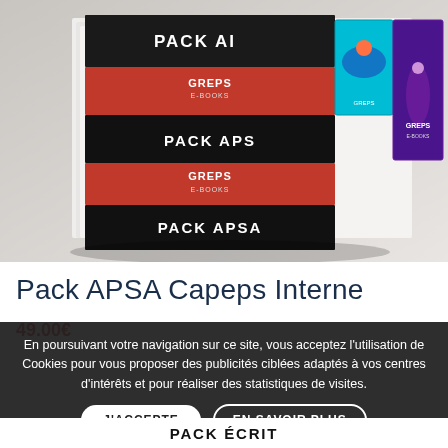[Figure (photo): Stack of GREPS e-books with covers showing PACK AI, PACK APS, and PACK APSA titles, with colorful sports images including swimming visible on the right side]
Pack APSA Capeps Interne
49.00€
En poursuivant votre navigation sur ce site, vous acceptez l'utilisation de Cookies pour vous proposer des publicités ciblées adaptés à vos centres d'intérêts et pour réaliser des statistiques de visites.
J'ACCEPTE
EN SAVOIR PLUS
PACK ÉCRIT